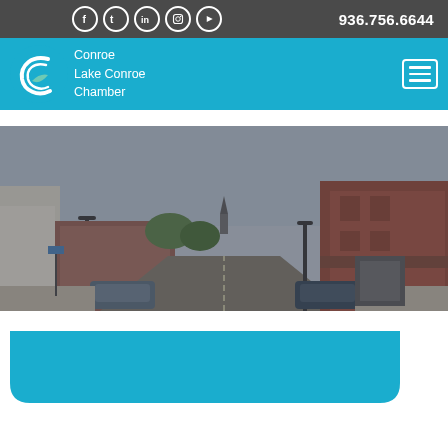936.756.6644
[Figure (logo): Conroe Lake Conroe Chamber logo with stylized C icon and white text]
[Figure (photo): Street-level photograph of downtown Conroe, TX showing brick storefronts, street lamps, and a church steeple in the background]
[Figure (other): Cyan/blue rounded banner shape below the street photo]